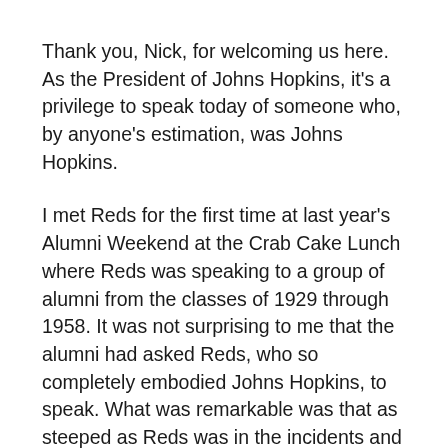Thank you, Nick, for welcoming us here. As the President of Johns Hopkins, it's a privilege to speak today of someone who, by anyone's estimation, was Johns Hopkins.
I met Reds for the first time at last year's Alumni Weekend at the Crab Cake Lunch where Reds was speaking to a group of alumni from the classes of 1929 through 1958. It was not surprising to me that the alumni had asked Reds, who so completely embodied Johns Hopkins, to speak. What was remarkable was that as steeped as Reds was in the incidents and accomplishments of 60 years ago, he was equally conversant with the events – both mundane and profound – occurring today.
In that sense, he seemed to me very like the rivers he